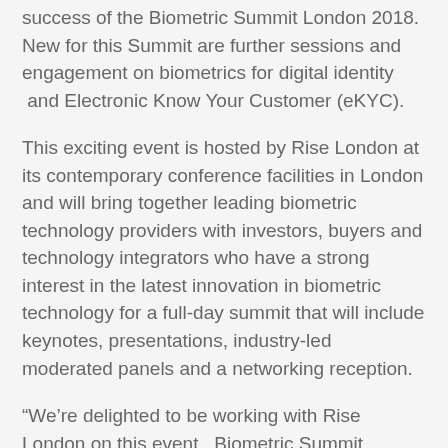success of the Biometric Summit London 2018. New for this Summit are further sessions and engagement on biometrics for digital identity  and Electronic Know Your Customer (eKYC).
This exciting event is hosted by Rise London at its contemporary conference facilities in London and will bring together leading biometric technology providers with investors, buyers and technology integrators who have a strong interest in the latest innovation in biometric technology for a full-day summit that will include keynotes, presentations, industry-led moderated panels and a networking reception.
“We’re delighted to be working with Rise London on this event.  Biometric Summit London 2019 is set to build on the success